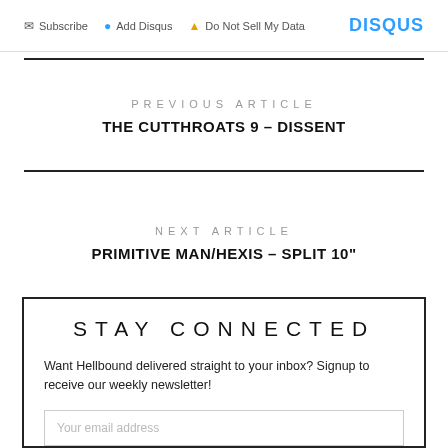Subscribe  Add Disqus  Do Not Sell My Data  DISQUS
PREVIOUS ARTICLE
THE CUTTHROATS 9 – DISSENT
NEXT ARTICLE
PRIMITIVE MAN/HEXIS – SPLIT 10"
STAY CONNECTED
Want Hellbound delivered straight to your inbox? Signup to receive our weekly newsletter!
Your email address